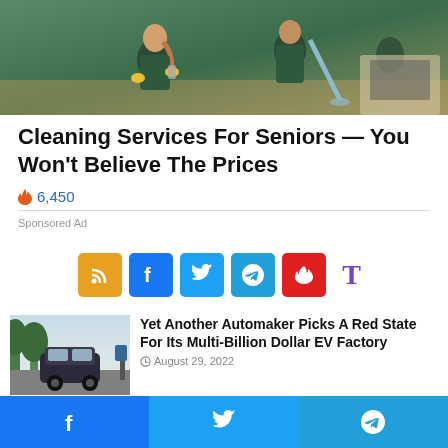[Figure (photo): Cleaning service workers in green uniforms with yellow gloves, one holding a spray bottle]
Cleaning Services For Seniors — You Won't Believe The Prices
🔥 6,450
Sponsored Ad
[Figure (infographic): Social media sharing buttons: RSS (orange), Facebook (blue), Twitter (light blue), Telegram (teal), red icon button, and T letter logo in purple]
[Figure (photo): An electric vehicle parked on a street with trees in background]
Yet Another Automaker Picks A Red State For Its Multi-Billion Dollar EV Factory
August 29, 2022
[Figure (infographic): Bottom social sharing bar with Facebook, Twitter, and Telegram icons in blue backgrounds]